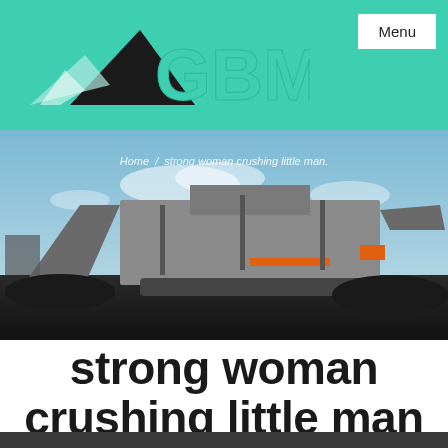GBM  Menu
[Figure (photo): Industrial rock crushing and screening machine on a dark gravel surface with blue sky background. Breadcrumb text overlay reads: Home / strong woman crushing little man.]
strong woman crushing little man